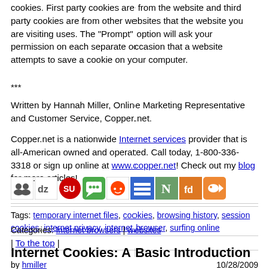cookies. First party cookies are from the website and third party cookies are from other websites that the website you are visiting uses. The "Prompt" option will ask your permission on each separate occasion that a website attempts to save a cookie on your computer.
***
Written by Hannah Miller, Online Marketing Representative and Customer Service, Copper.net.
Copper.net is a nationwide Internet services provider that is all-American owned and operated. Call today, 1-800-336-3318 or sign up online at www.copper.net! Check out my blog for more articles!
[Figure (other): Row of social sharing icons including MySpace, Digg, StumbleUpon, MSN, Reddit, del.icio.us, Newsvine, Furl, and another icon]
Tags: temporary internet files, cookies, browsing history, session cookies, internet privacy, internet browser, surfing online
Categories: Internet browsers | websites
| To the top |
Internet Cookies: A Basic Introduction
by hmiller  10/28/2009
A cookie is a simple text file placed on your computer by websites you visit.